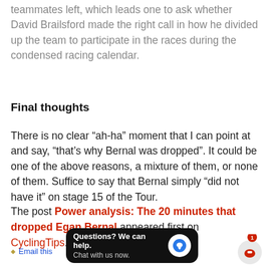teammates left, which leads one to ask whether David Brailsford made the right call in how he divided up the team to participate in the races during the condensed racing calendar.
Final thoughts
There is no clear “ah-ha” moment that I can point at and say, “that’s why Bernal was dropped”. It could be one of the above reasons, a mixture of them, or none of them. Suffice to say that Bernal simply “did not have it” on stage 15 of the Tour.
The post Power analysis: The 20 minutes that dropped Egan Bernal appeared first on CyclingTips.